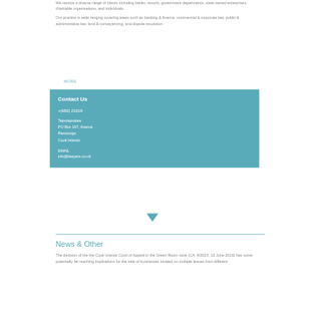We service a diverse range of clients including banks, resorts, government departments, state owned enterprises, charitable organisations, and individuals.
Our practice is wide ranging covering areas such as banking & finance, commercial & corporate law, public & administrative law, land & conveyancing, and dispute resolution.
MORE
Contact Us
+(682) 21619
Taputapuatea
PO Box 167, Avarua
Rarotonga
Cook Islands
EMAIL
info@lawyers.co.ck
News & Other
The decision of the the Cook Islands Court of Appeal in the Green Room case (CA: 9/2015, 13 June 2016) has some potentially far reaching implications for the sale of businesses located on multiple leases from different